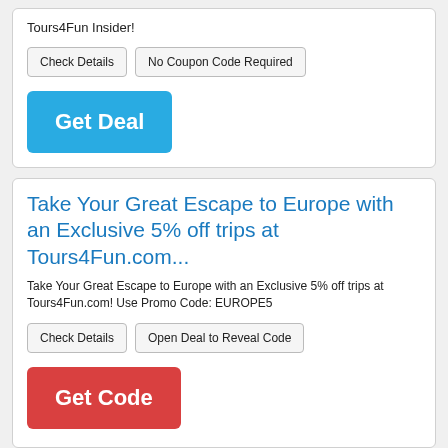Tours4Fun Insider!
Check Details | No Coupon Code Required
Get Deal
Take Your Great Escape to Europe with an Exclusive 5% off trips at Tours4Fun.com...
Take Your Great Escape to Europe with an Exclusive 5% off trips at Tours4Fun.com! Use Promo Code: EUROPE5
Check Details | Open Deal to Reveal Code
Get Code